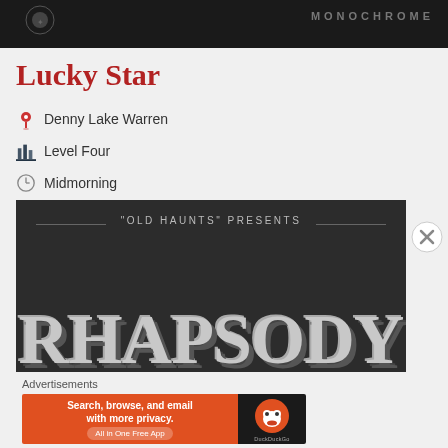[Figure (photo): Dark banner image at top with 'MONOCHROME' text in grey letters on dark background]
Lucky Star
Denny Lake Warren
Level Four
Midmorning
[Figure (photo): Dark film title card showing '"OLD HAUNTS" PRESENTS' in small caps with large stylized text 'RHAPSODY' in bold serif font below]
Advertisements
[Figure (screenshot): DuckDuckGo advertisement banner: orange background with text 'Search, browse, and email with more privacy. All in One Free App' and DuckDuckGo duck logo on dark right panel]